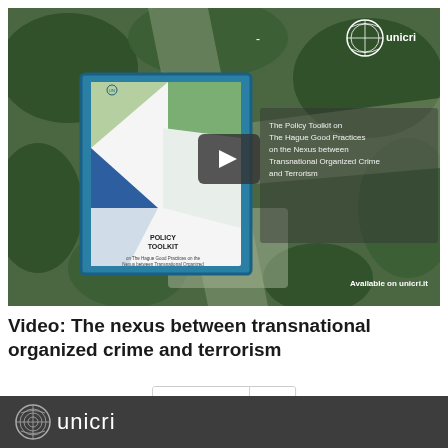[Figure (screenshot): Video thumbnail showing an aerial view of trees and paths with a UNICRI logo in the top right, a policy toolkit booklet cover on the left, a play button icon in the center, text reading 'The Policy Toolkit on The Hague Good Practices on the Nexus between Transnational Organized Crime and Terrorism' and 'Available on unicri.it' on the right side.]
Video: The nexus between transnational organized crime and terrorism
Page 1 »
unicri